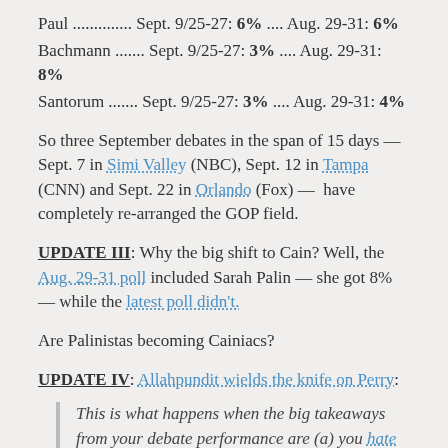Paul .............. Sept. 9/25-27: 6% .... Aug. 29-31: 6%
Bachmann ....... Sept. 9/25-27: 3% .... Aug. 29-31: 8%
Santorum ....... Sept. 9/25-27: 3% .... Aug. 29-31: 4%
So three September debates in the span of 15 days — Sept. 7 in Simi Valley (NBC), Sept. 12 in Tampa (CNN) and Sept. 22 in Orlando (Fox) —  have completely rearranged the GOP field.
UPDATE III: Why the big shift to Cain? Well, the Aug. 29-31 poll included Sarah Palin — she got 8% — while the latest poll didn't.
Are Palinistas becoming Cainiacs?
UPDATE IV: Allahpundit wields the knife on Perry:
This is what happens when the big takeaways from your debate performance are (a) you hate